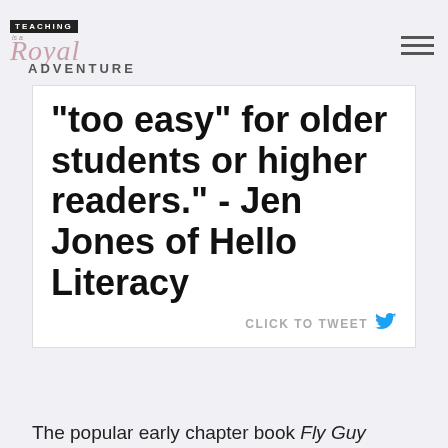Teaching is a Royal Adventure
"too easy" for older students or higher readers." - Jen Jones of Hello Literacy
CLICK TO TWEET
The popular early chapter book Fly Guy